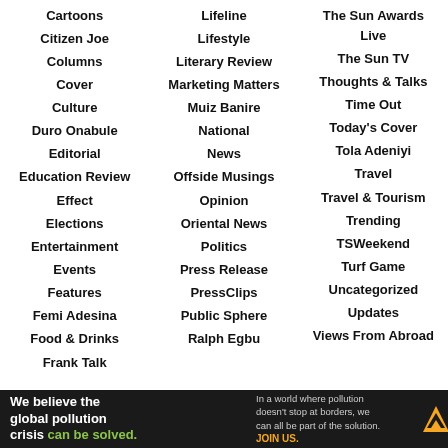Cartoons
Citizen Joe
Columns
Cover
Culture
Duro Onabule
Editorial
Education Review
Effect
Elections
Entertainment
Events
Features
Femi Adesina
Food & Drinks
Frank Talk
Lifeline
Lifestyle
Literary Review
Marketing Matters
Muiz Banire
National
News
Offside Musings
Opinion
Oriental News
Politics
Press Release
PressClips
Public Sphere
Ralph Egbu
The Sun Awards Live
The Sun TV
Thoughts & Talks
Time Out
Today's Cover
Tola Adeniyi
Travel
Travel & Tourism
Trending
TSWeekend
Turf Game
Uncategorized
Updates
Views From Abroad
[Figure (infographic): Advertisement banner for Pure Earth. Text: 'We believe the global pollution crisis can be solved.' and 'In a world where pollution doesn't stop at borders, we can all be part of the solution. JOIN US.' with Pure Earth logo.]